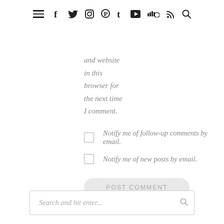Navigation bar with hamburger menu and social icons: f (Facebook), Twitter, Instagram, Pinterest, Tumblr, YouTube, SoundCloud, RSS, Search
and website
in this
browser for
the next time
I comment.
Notify me of follow-up comments by email.
Notify me of new posts by email.
POST COMMENT
Search and hit enter...